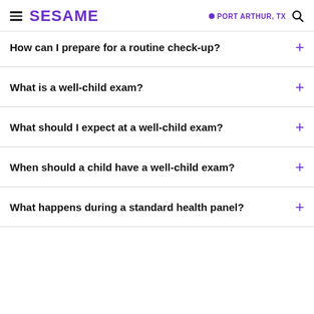SESAME | PORT ARTHUR, TX
How can I prepare for a routine check-up?
What is a well-child exam?
What should I expect at a well-child exam?
When should a child have a well-child exam?
What happens during a standard health panel?